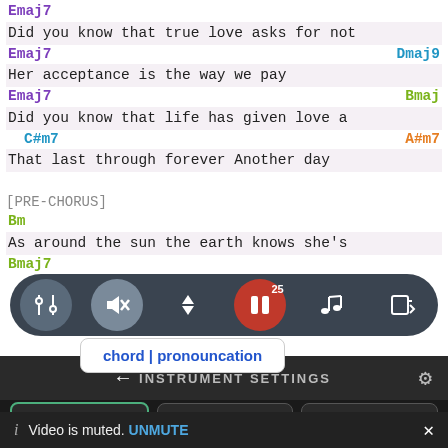Emaj7
Did you know that true love asks for not
Emaj7    Dmaj9
Her acceptance is the way we pay
Emaj7    Bmaj
Did you know that life has given love a
C#m7    A#m7
That last through forever Another day
[PRE-CHORUS]
Bm
As around the sun the earth knows she's
Bmaj7
[Figure (screenshot): Music app toolbar with equalizer, mute, transpose, pause (badge 25), notes, and scroll icons on dark rounded bar]
chord | pronouncation
← INSTRUMENT SETTINGS
🎸 GUITAR   🎹 PIANO   🎸 UKULELE
i  Video is muted. UNMUTE  ×
The love of me I left behind